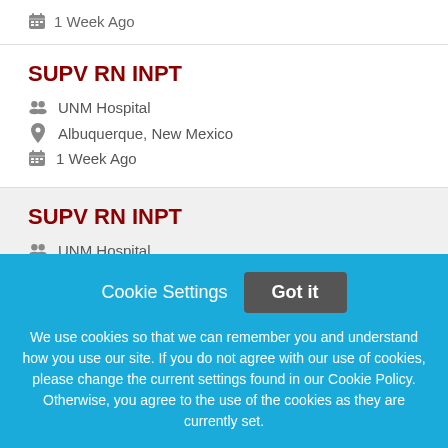1 Week Ago
SUPV RN INPT
UNM Hospital
Albuquerque, New Mexico
1 Week Ago
SUPV RN INPT
UNM Hospital
Cookie Settings  Got it
We use cookies so that we can remember you and understand how you use our site. If you do not agree with our use of cookies, please change the current settings found in our Cookie Policy. Otherwise, you agree to the use of the cookies as they are currently set.